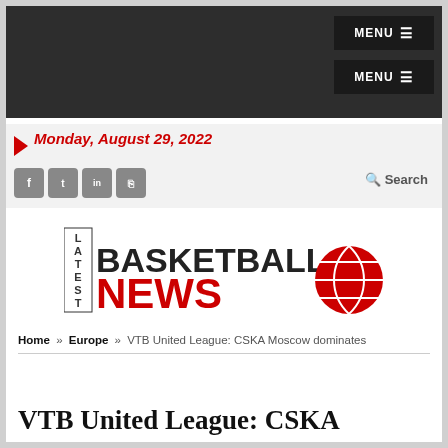MENU ≡ MENU ≡
Monday, August 29, 2022
f  t  in  rss  Search
[Figure (logo): Latest Basketball News logo with basketball graphic]
Home » Europe » VTB United League: CSKA Moscow dominates
VTB United League: CSKA